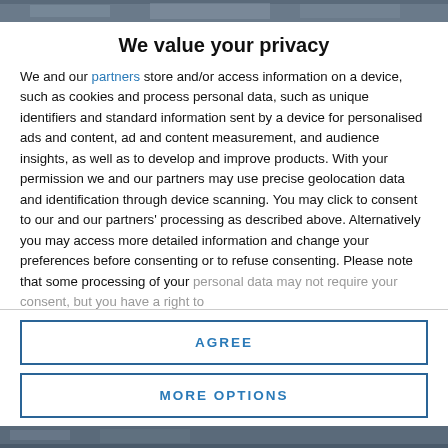[Figure (photo): Partial photo visible at top of page behind modal overlay]
We value your privacy
We and our partners store and/or access information on a device, such as cookies and process personal data, such as unique identifiers and standard information sent by a device for personalised ads and content, ad and content measurement, and audience insights, as well as to develop and improve products. With your permission we and our partners may use precise geolocation data and identification through device scanning. You may click to consent to our and our partners' processing as described above. Alternatively you may access more detailed information and change your preferences before consenting or to refuse consenting. Please note that some processing of your personal data may not require your consent, but you have a right to
AGREE
MORE OPTIONS
[Figure (photo): Partial photo visible at bottom of page behind modal overlay]